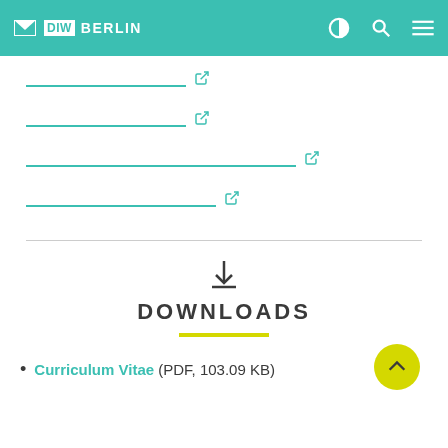DIW BERLIN
[link with external icon]
[link with external icon]
[link with external icon]
[link with external icon]
DOWNLOADS
Curriculum Vitae  (PDF, 103.09 KB)